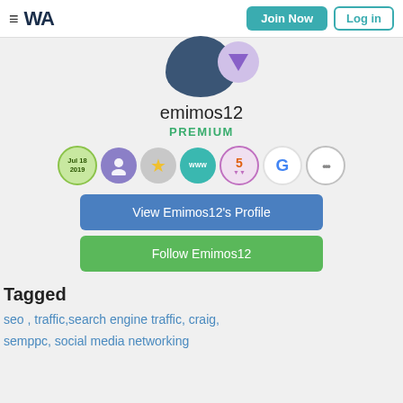≡ WA  Join Now  Log in
[Figure (photo): Partial profile photo of emimos12 showing the top of a silhouette/avatar in navy blue, with a purple badge overlay]
emimos12
PREMIUM
[Figure (infographic): Row of 7 circular badges: Jul 18 2019 date badge (green), profile badge (purple), star badge (grey/gold), www badge (teal), ribbon/5 badge (pink/purple), G badge (white), and more (...) badge (white)]
View Emimos12's Profile
Follow Emimos12
Tagged
seo , traffic,search engine traffic, craig, semppc, social media networking